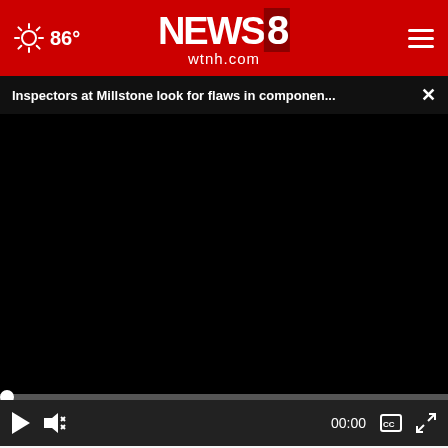86° NEWS 8 wtnh.com
Inspectors at Millstone look for flaws in componen...
[Figure (screenshot): Black video player screen with progress bar at 0 and playback controls showing play button, mute button, 00:00 timestamp, CC button, and fullscreen button]
[Figure (photo): Partial thumbnail image showing skin/fingers, with partial text 'Peo' and 'This Month' visible]
Our cat grass is packed with the essential vitamins your cat need fo healthy digestion
SHOP NOW